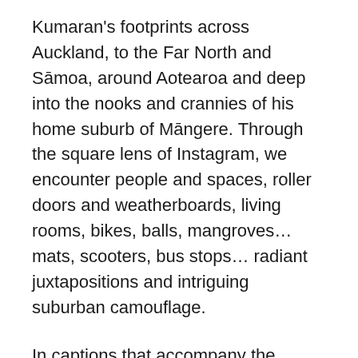Kumaran's footprints across Auckland, to the Far North and Sāmoa, around Aotearoa and deep into the nooks and crannies of his home suburb of Māngere. Through the square lens of Instagram, we encounter people and spaces, roller doors and weatherboards, living rooms, bikes, balls, mangroves… mats, scooters, bus stops… radiant juxtapositions and intriguing suburban camouflage.
In captions that accompany the portraits, each subject is credited; their name and age, where they live and sometimes where they are originally from. In short quotes that follow, the subject's voice elevates the image and demystifies the gaze. Kumaran has approached strangers in the street, human to human, eye to eye; the quotes are sometimes secrets and sometimes mundane, but represent the space between the artist, the camera and the subject, and exist as the residue of the encounter.